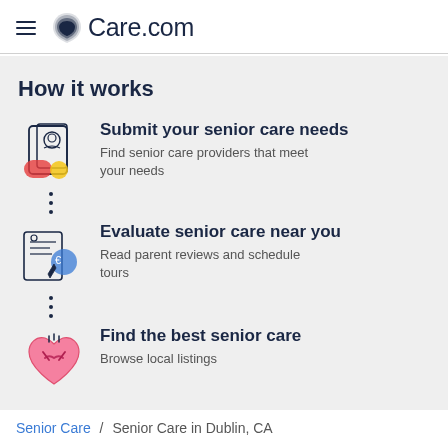Care.com
How it works
Submit your senior care needs
Find senior care providers that meet your needs
Evaluate senior care near you
Read parent reviews and schedule tours
Find the best senior care
Browse local listings
Senior Care / Senior Care in Dublin, CA